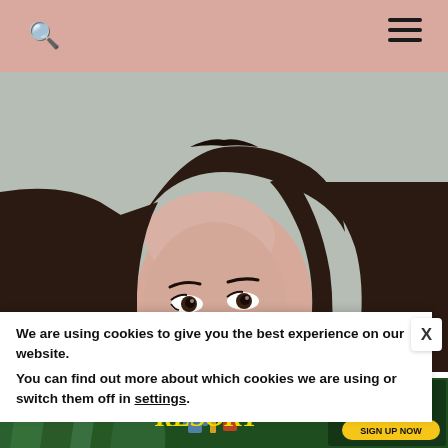Navigation bar with search icon and hamburger menu
[Figure (photo): Close-up portrait photo of a young woman with long dark straight hair and dark eyes against a light gray background, cropped showing the top half of her face]
We are using cookies to give you the best experience on our website.
You can find out more about which cookies we are using or switch them off in settings.
[Figure (advertisement): Advertisement for 'The Resort' on Peacock streaming service with green jungle background and figures, yellow logo text, with 'SIGN UP NOW' button]